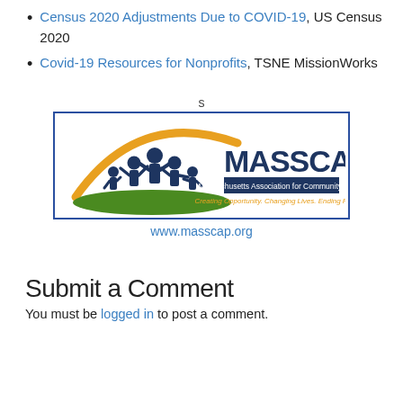Census 2020 Adjustments Due to COVID-19, US Census 2020
Covid-19 Resources for Nonprofits, TSNE MissionWorks
s
[Figure (logo): MASSCAP logo - Massachusetts Association for Community Action. Creating Opportunity. Changing Lives. Ending Poverty. Features silhouettes of people under a golden arch on a green hill.]
www.masscap.org
Submit a Comment
You must be logged in to post a comment.